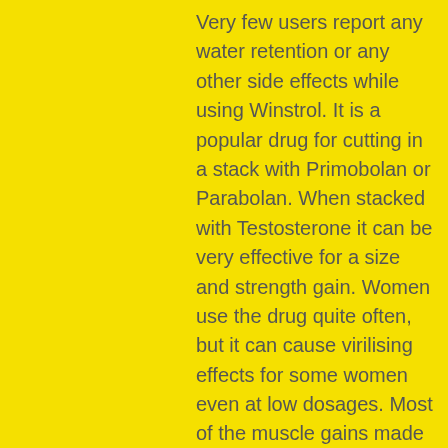Very few users report any water retention or any other side effects while using Winstrol. It is a popular drug for cutting in a stack with Primobolan or Parabolan. When stacked with Testosterone it can be very effective for a size and strength gain. Women use the drug quite often, but it can cause virilising effects for some women even at low dosages. Most of the muscle gains made while taking the Winstrol are retained after the drug is discontinued. The injectable form is better than the oral. Many feel that the injectable must be administered at least twice a week: some take shots every day for better effects. Dosages range from 3 to 5 cc?s per week for men, 1 to 2 cc's in women. .
Stanozolol is prescribed for chronic infections, for conditions such as extensive